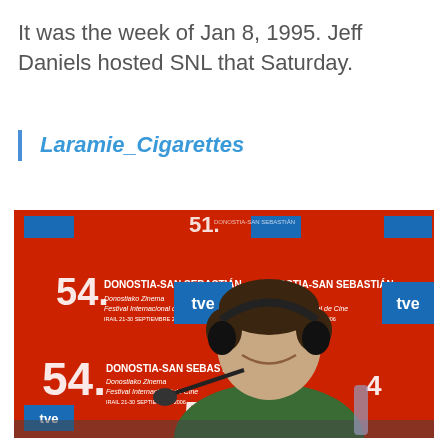It was the week of Jan 8, 1995. Jeff Daniels hosted SNL that Saturday.
Laramie_Cigarettes
[Figure (photo): A man wearing a green top and headphones laughs at a press conference in front of a red backdrop with 'Donostia-San Sebastián, 54. Festival Internacional de Cine' and TVE logos]